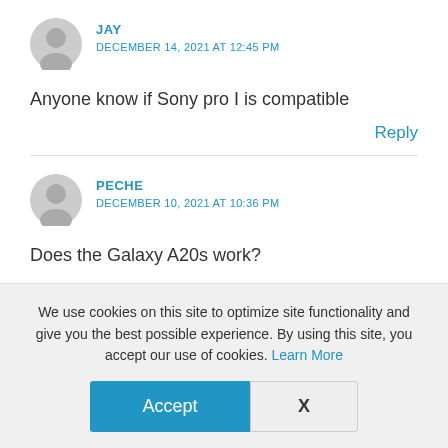JAY
DECEMBER 14, 2021 AT 12:45 PM
Anyone know if Sony pro I is compatible
Reply
PECHE
DECEMBER 10, 2021 AT 10:36 PM
Does the Galaxy A20s work?
We use cookies on this site to optimize site functionality and give you the best possible experience. By using this site, you accept our use of cookies. Learn More
Accept
X